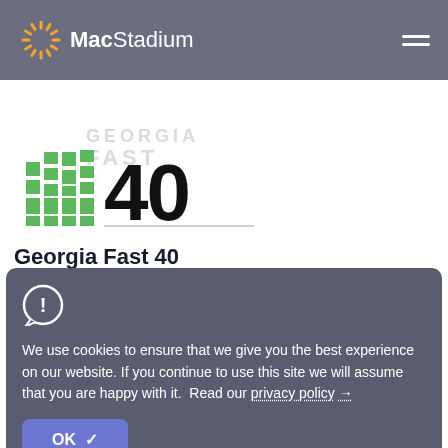[Figure (logo): MacStadium logo with orange sunburst icon and white text on dark gray header]
[Figure (logo): Georgia Fast 40 logo with green bar chart columns and large '40' text]
Georgia Fast 40
[Figure (infographic): Cookie consent dialog overlay with exclamation icon, cookie policy text, and OK button]
We use cookies to ensure that we give you the best experience on our website. If you continue to use this site we will assume that you are happy with it. Read our privacy policy →